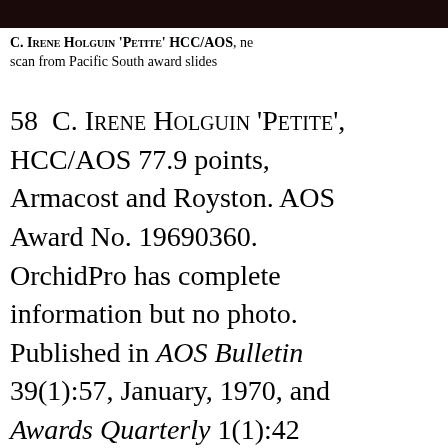[Figure (photo): Dark photo strip at top of page, partially visible orchid flowers in pink/magenta against dark background]
C. Irene Holguin 'Petite' HCC/AOS, new scan from Pacific South award slides
58  C. Irene Holguin 'Petite', HCC/AOS 77.9 points, Armacost and Royston. AOS Award No. 19690360. OrchidPro has complete information but no photo. Published in AOS Bulletin 39(1):57, January, 1970, and Awards Quarterly 1(1):42 (1970). Award not found in OrchidWiz. Award text: "Five flowers on one spike; rosy lavender sepals and petals,